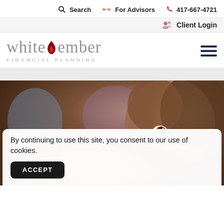Search   For Advisors   417-667-4721
Client Login
[Figure (logo): White Ember Financial Planning logo with flame icon]
[Figure (photo): Close-up of a young girl looking at food, with blurred family members in background, warm tones]
By continuing to use this site, you consent to our use of cookies.
ACCEPT